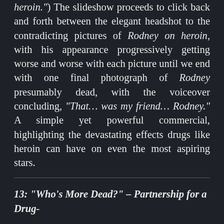heroin.") The slideshow proceeds to click back and forth between the elegant headshot to the contradicting pictures of Rodney on heroin, with his appearance progressively getting worse and worse with each picture until we end with one final photograph of Rodney presumably dead, with the voiceover concluding, "That... was my friend... Rodney." A simple yet powerful commercial, highlighting the devastating effects drugs like heroin can have on even the most aspiring stars.
13: "Who's More Dead?" – Partnership for a Drug-
[Figure (screenshot): DuckDuckGo advertisement banner: orange section with text 'Search, browse, and email with more privacy. All in One Free App' and dark section with DuckDuckGo logo.]